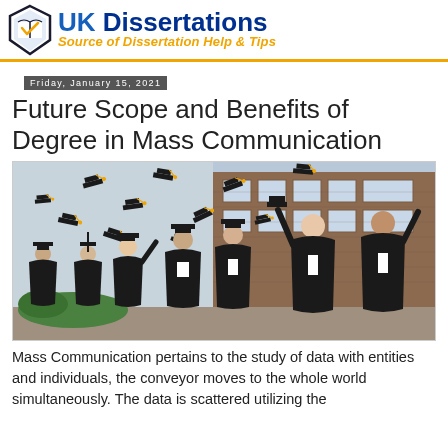UK Dissertations — Source of Dissertation Help & Tips
Friday, January 15, 2021
Future Scope and Benefits of Degree in Mass Communication
[Figure (photo): Graduates in black gowns tossing mortarboard caps into the air in front of a brick building]
Mass Communication pertains to the study of data with entities and individuals, the conveyor moves to the whole world simultaneously. The data is scattered utilizing the